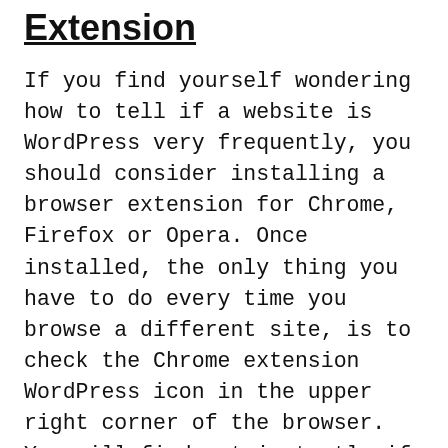Extension
If you find yourself wondering how to tell if a website is WordPress very frequently, you should consider installing a browser extension for Chrome, Firefox or Opera. Once installed, the only thing you have to do every time you browse a different site, is to check the Chrome extension WordPress icon in the upper right corner of the browser. You will find out instantly if a site is using WordPress or not.  Tip: Be sure not to install too many browser or extensions. They have a habit of eating up your browser's RAM and ultimately slowing down your computer.